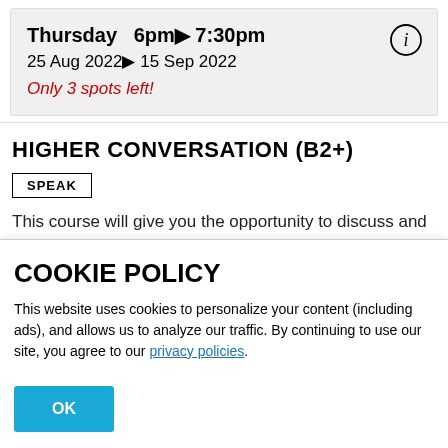Thursday 6pm▶ 7:30pm
25 Aug 2022▶ 15 Sep 2022
Only 3 spots left!
HIGHER CONVERSATION (B2+)
SPEAK
This course will give you the opportunity to discuss and debate various advanced-level topics taken from French, British and international news and other
COOKIE POLICY
This website uses cookies to personalize your content (including ads), and allows us to analyze our traffic. By continuing to use our site, you agree to our privacy policies.
OK